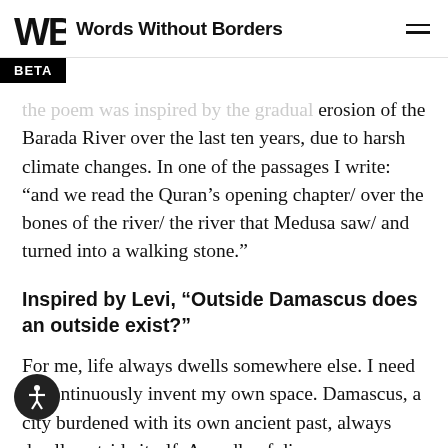Words Without Borders
the poem was inspired by the gradual erosion of the Barada River over the last ten years, due to harsh climate changes. In one of the passages I write: “and we read the Quran’s opening chapter/ over the bones of the river/ the river that Medusa saw/ and turned into a walking stone.”
Inspired by Levi, “Outside Damascus does an outside exist?”
For me, life always dwells somewhere else. I need to continuously invent my own space. Damascus, a city burdened with its own ancient past, always dwells outside itself. A cradle of diverse